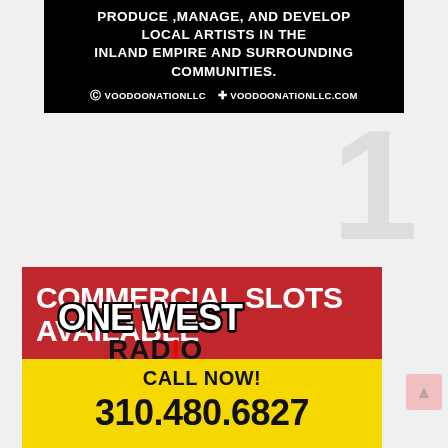[Figure (infographic): Black banner with white bold uppercase text: PRODUCE, MANAGE, AND DEVELOP LOCAL ARTISTS IN THE INLAND EMPIRE AND SURROUNDING COMMUNITIES. Below: Instagram icon VOODOONATIONLLC and globe icon VOODOONATIONLLC.COM]
[Figure (logo): One West Radio logo: large white outlined text ONE WEST with black grunge-style RADIO below, and a large light gray number 1 watermark in background]
[Figure (infographic): Red and yellow advertisement banner. Red section: COMMERCIAL SLOTS AVAILABLE in large white bold text. Yellow section: CALL NOW! and phone number 310.480.6827 in large black bold text]